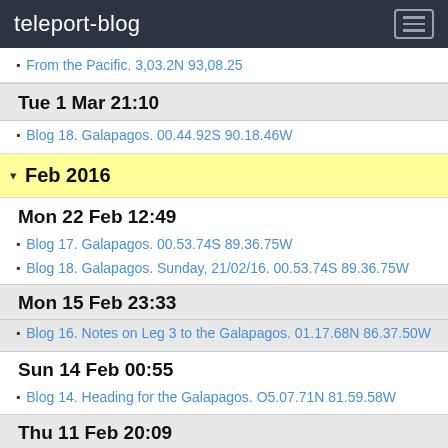teleport-blog
From the Pacific. 3,03.2N 93,08.25
Tue 1 Mar 21:10
Blog 18. Galapagos. 00.44.92S 90.18.46W
Feb 2016
Mon 22 Feb 12:49
Blog 17. Galapagos. 00.53.74S 89.36.75W
Blog 18. Galapagos. Sunday, 21/02/16. 00.53.74S 89.36.75W
Mon 15 Feb 23:33
Blog 16. Notes on Leg 3 to the Galapagos. 01.17.68N 86.37.50W
Sun 14 Feb 00:55
Blog 14. Heading for the Galapagos. O5.07.71N 81.59.58W
Thu 11 Feb 20:09
Blog 14. Contadora, Las Perlos Islands. 08.37.21N 79.02.06W
Bird Watching in Colombia. 11.02.16
More Photos, Beach Party and Bird Watching, Santa Marta. 11.02.16